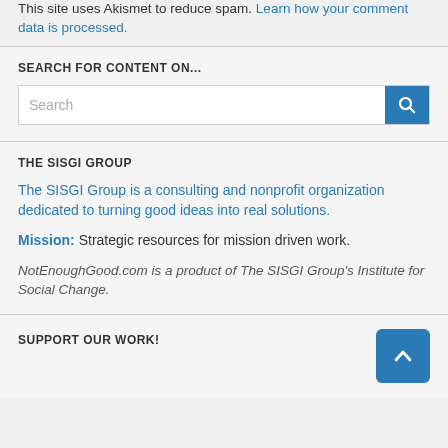This site uses Akismet to reduce spam. Learn how your comment data is processed.
SEARCH FOR CONTENT ON...
Search
THE SISGI GROUP
The SISGI Group is a consulting and nonprofit organization dedicated to turning good ideas into real solutions.
Mission: Strategic resources for mission driven work.
NotEnoughGood.com is a product of The SISGI Group's Institute for Social Change.
SUPPORT OUR WORK!